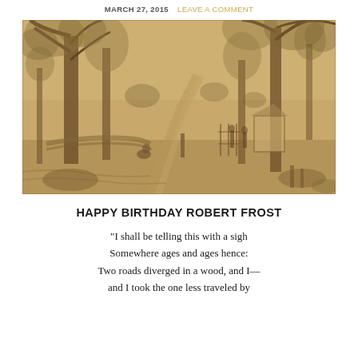MARCH 27, 2015   LEAVE A COMMENT
[Figure (illustration): Sepia-toned pencil or ink sketch of a rural wooded landscape with a dirt road, large trees, figures walking, and buildings in the background.]
HAPPY BIRTHDAY ROBERT FROST
“I shall be telling this with a sigh
Somewhere ages and ages hence:
Two roads diverged in a wood, and I—
and I took the one less traveled by